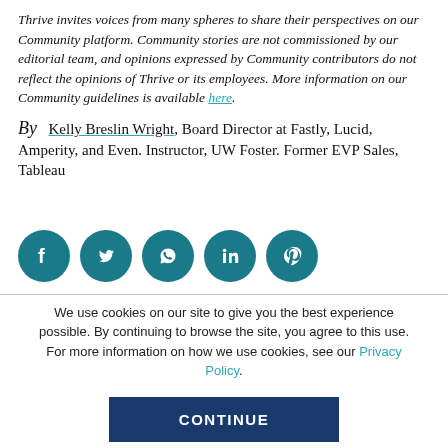Thrive invites voices from many spheres to share their perspectives on our Community platform. Community stories are not commissioned by our editorial team, and opinions expressed by Community contributors do not reflect the opinions of Thrive or its employees. More information on our Community guidelines is available here.
By Kelly Breslin Wright, Board Director at Fastly, Lucid, Amperity, and Even. Instructor, UW Foster. Former EVP Sales, Tableau
[Figure (other): Row of five circular dark teal social media share buttons: Facebook, Twitter, WhatsApp, LinkedIn, Pinterest]
We use cookies on our site to give you the best experience possible. By continuing to browse the site, you agree to this use. For more information on how we use cookies, see our Privacy Policy.
CONTINUE